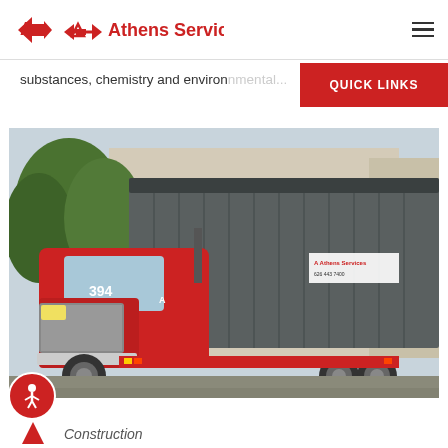[Figure (logo): Athens Services logo with red arrow icon and red text reading 'Athens Services']
substances, chemistry and environmental...
QUICK LINKS
[Figure (photo): Red semi-truck numbered 394 pulling a large dark gray container trailer in a parking lot with trees in the background. Athens Services branding on the cab.]
Construction